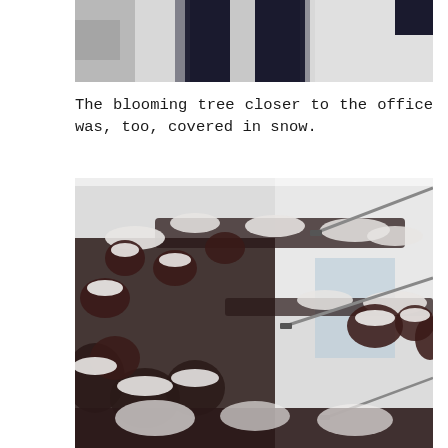[Figure (photo): Top portion of a photo showing dark clothing/legs against a snowy or light background, partially cropped at top of page]
The blooming tree closer to the office was, too, covered in snow.
[Figure (photo): Close-up photograph of a blooming tree covered in snow, with bare branches and snow-dusted flowers/leaves visible against a pale sky. Metal poles or antenna structures visible in background.]